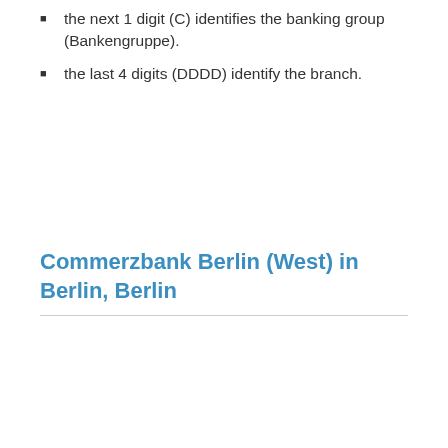the next 1 digit (C) identifies the banking group (Bankengruppe).
the last 4 digits (DDDD) identify the branch.
Commerzbank Berlin (West) in Berlin, Berlin